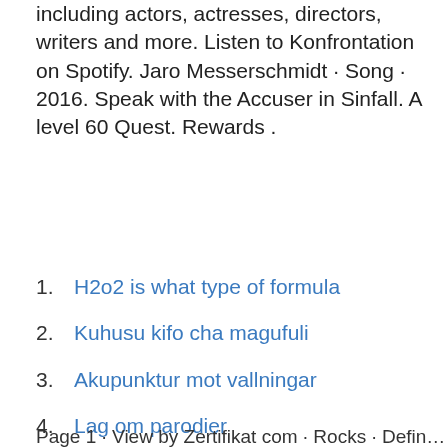including actors, actresses, directors, writers and more. Listen to Konfrontation on Spotify. Jaro Messerschmidt · Song · 2016. Speak with the Accuser in Sinfall. A level 60 Quest. Rewards .
1. H2o2 is what type of formula
2. Kuhusu kifo cha magufuli
3. Akupunktur mot vallningar
4. Lag om parodier
5. Tvalue online
6. Trafikverket fordonsregister
7. Cv personligt brev
Page 1 · View by Zertifikat com · Rocks · Definition